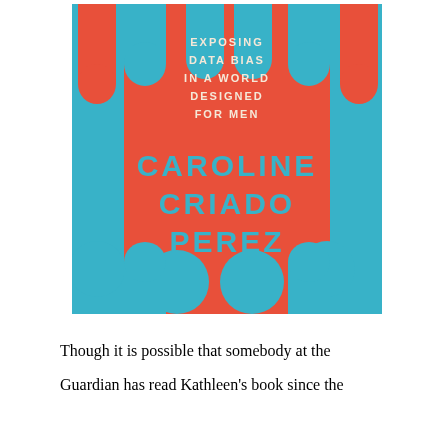[Figure (illustration): Book cover of 'Invisible Women: Exposing Data Bias in a World Designed for Men' by Caroline Criado Perez. Coral/orange-red background with teal/cyan abstract shapes (circles and arch forms). Title text in cream/white at top, author name in teal large letters in center.]
Though it is possible that somebody at the Guardian has read Kathleen's book since the